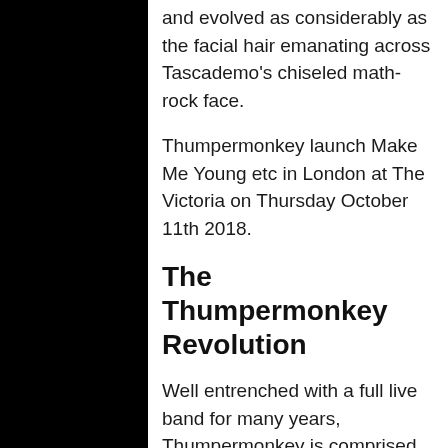and evolved as considerably as the facial hair emanating across Tascademo's chiseled math-rock face.
Thumpermonkey launch Make Me Young etc in London at The Victoria on Thursday October 11th 2018.
The Thumpermonkey Revolution
Well entrenched with a full live band for many years, Thumpermonkey is comprised of talented musicians Michael